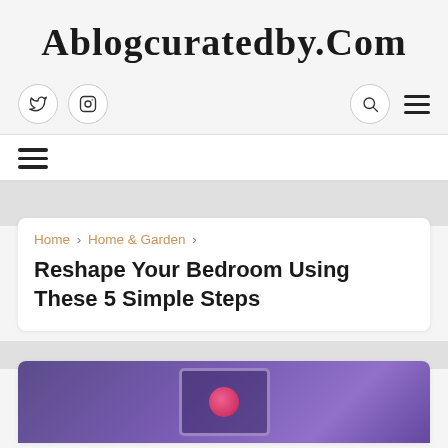Ablogcuratedby.Com
[Figure (screenshot): Website navigation bar with Twitter and Instagram icons on the left, and search and hamburger menu icons on the right]
[Figure (screenshot): Secondary navigation bar with hamburger menu icon on the left]
Home › Home & Garden ›
Reshape Your Bedroom Using These 5 Simple Steps
[Figure (photo): Partially visible bedroom photo with purple/violet tones, showing a framed artwork or screen on a wall]